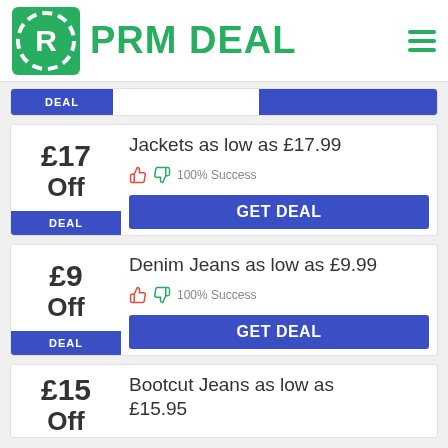PRM DEAL
£17 Off — Jackets as low as £17.99 — 100% Success — GET DEAL
£9 Off — Denim Jeans as low as £9.99 — 100% Success — GET DEAL
£15 Off — Bootcut Jeans as low as £15.95